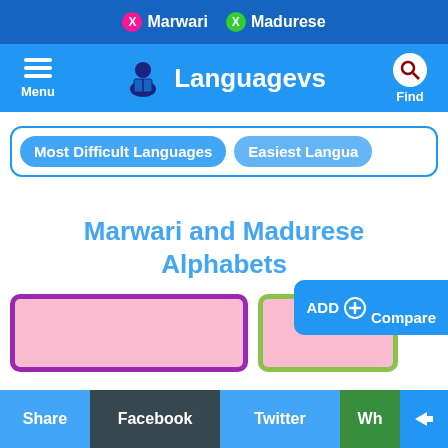X Marwari  X Madurese
Languagevs
Most Difficult Languages
Easiest Langua
Marwari and Madurese Alphabets
[Figure (screenshot): Two pink-bordered cards side by side representing Marwari and Madurese alphabet panels]
Share  Facebook  Twitter  Wh